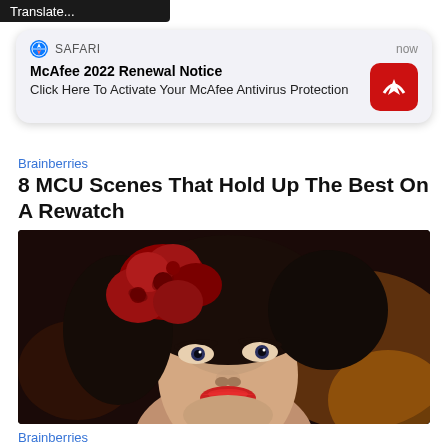[Figure (screenshot): Dark translate bar at top of screen]
[Figure (screenshot): Safari push notification card showing McAfee 2022 Renewal Notice with McAfee logo icon, text: Click Here To Activate Your McAfee Antivirus Protection]
Brainberries
8 MCU Scenes That Hold Up The Best On A Rewatch
[Figure (photo): Close-up portrait of a woman with dark hair adorned with large red roses, wearing heavy eye makeup and red lipstick]
Brainberries